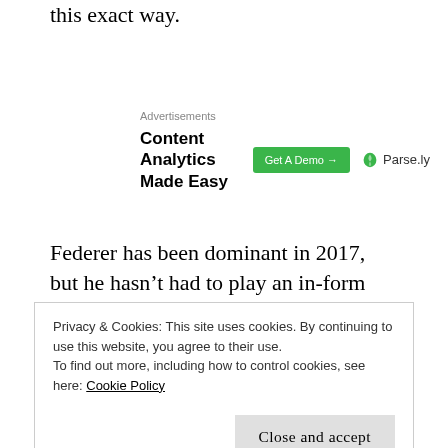this exact way.
[Figure (other): Advertisement banner for Parse.ly — Content Analytics Made Easy, with a green 'Get A Demo →' button and Parse.ly logo]
Federer has been dominant in 2017, but he hasn't had to play an in-form Djokovic, his victory in Melbourne came, in the end, against a Nadal who is not young. His victory over a monster Kyrgios
Privacy & Cookies: This site uses cookies. By continuing to use this website, you agree to their use.
To find out more, including how to control cookies, see here: Cookie Policy
Close and accept